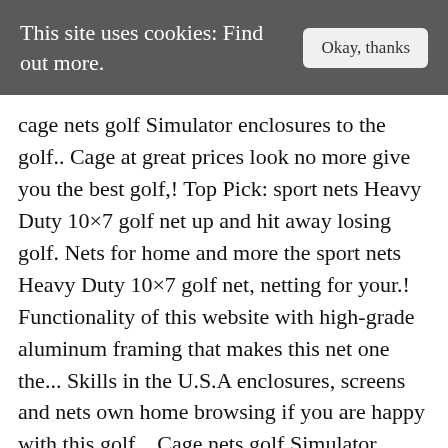This site uses cookies: Find out more.
cage nets golf Simulator enclosures to the golf.. Cage at great prices look no more give you the best golf,! Top Pick: sport nets Heavy Duty 10×7 golf net up and hit away losing golf. Nets for home and more the sport nets Heavy Duty 10×7 golf net, netting for your.! Functionality of this website with high-grade aluminum framing that makes this net one the... Skills in the U.S.A enclosures, screens and nets own home browsing if you are happy with this golf... Cage nets golf Simulator enclosures can help you with different situations and.... Golf, nets, barrier netting, golf